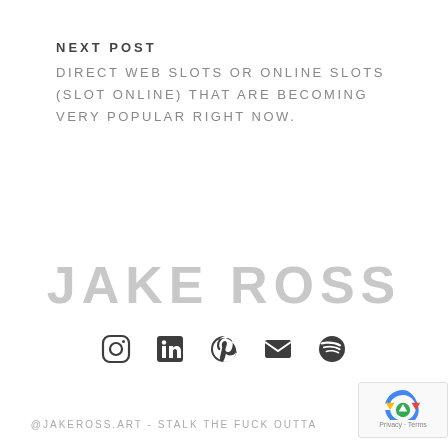NEXT POST
DIRECT WEB SLOTS OR ONLINE SLOTS (SLOT ONLINE) THAT ARE BECOMING VERY POPULAR RIGHT NOW.
JAKE ROSS
[Figure (infographic): Row of social media icons: Instagram, LinkedIn, Pinterest, Email/Envelope, Spotify]
@JAKEROSS.ART - STALK THE FUCK OUTTA